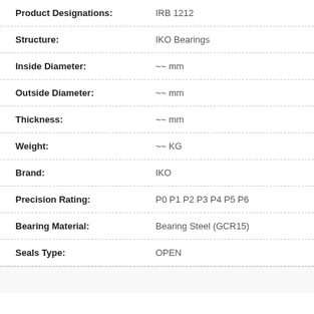| Field | Value |
| --- | --- |
| Product Designations: | IRB 1212 |
| Structure: | IKO Bearings |
| Inside Diameter: | ~~ mm |
| Outside Diameter: | ~~ mm |
| Thickness: | ~~ mm |
| Weight: | ~~ KG |
| Brand: | IKO |
| Precision Rating: | P0 P1 P2 P3 P4 P5 P6 |
| Bearing Material: | Bearing Steel (GCR15) |
| Seals Type: | OPEN |